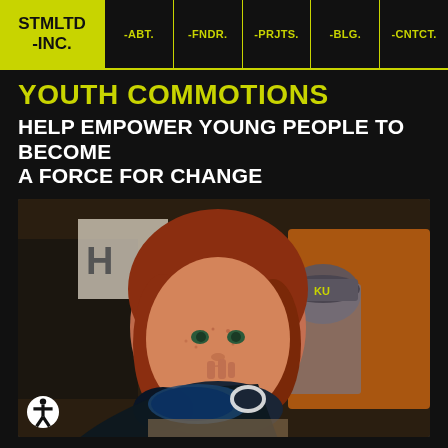STMLTD -INC. | -ABT. | -FNDR. | -PRJTS. | -BLG. | -CNTCT.
YOUTH COMMOTIONS
HELP EMPOWER YOUNG PEOPLE TO BECOME A FORCE FOR CHANGE
[Figure (photo): Young red-haired girl speaking into a megaphone/bullhorn at a rally, with other youth activists visible in the background including a person in a Kansas Jayhawks cap and someone in an orange shirt.]